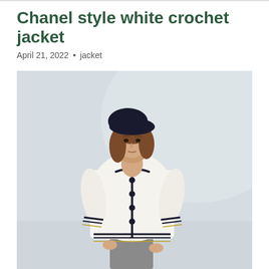Chanel style white crochet jacket
April 21, 2022  •  jacket
[Figure (photo): A woman wearing a white crochet Chanel-style jacket with dark navy trim and buttons down the front center, paired with a dark navy beret hat and grey skirt, seated on a stool against a light grey/white background.]